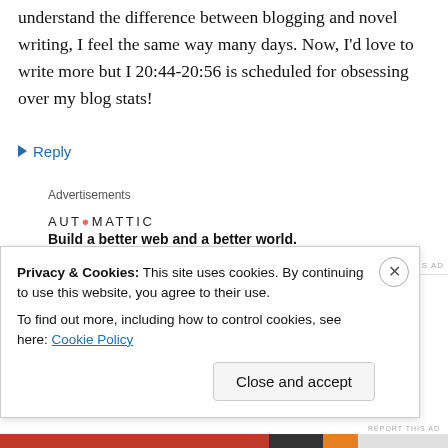understand the difference between blogging and novel writing, I feel the same way many days. Now, I'd love to write more but I 20:44-20:56 is scheduled for obsessing over my blog stats!
↪ Reply
Advertisements
[Figure (logo): Automattic logo with tagline: Build a better web and a better world.]
REPORT THIS AD
Nathan on February 11, 2022 at 9:19 pm
Privacy & Cookies: This site uses cookies. By continuing to use this website, you agree to their use. To find out more, including how to control cookies, see here: Cookie Policy
Close and accept